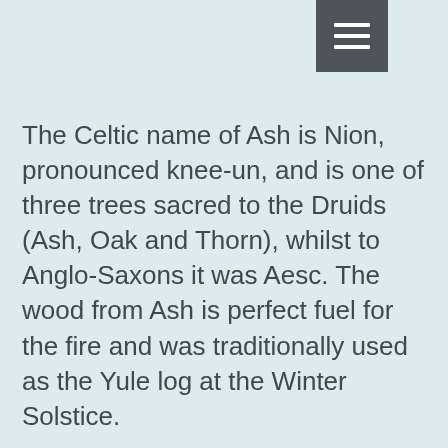The Celtic name of Ash is Nion, pronounced knee-un, and is one of three trees sacred to the Druids (Ash, Oak and Thorn), whilst to Anglo-Saxons it was Aesc. The wood from Ash is perfect fuel for the fire and was traditionally used as the Yule log at the Winter Solstice.
The Ash is a majestic tree and among the largest of the northern hemisphere. Despite its outward strength, it is sensitive to frost and so is reluctant to unfurl its new leaves before all danger of sudden cold snaps has passed. It is therefore an image of maturity and insight. If an